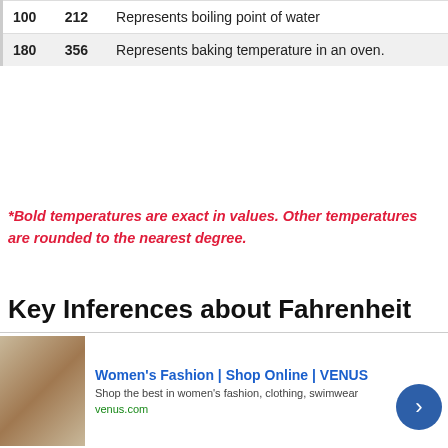| °C | °F | Description |
| --- | --- | --- |
| 100 | 212 | Represents boiling point of water |
| 180 | 356 | Represents baking temperature in an oven. |
*Bold temperatures are exact in values. Other temperatures are rounded to the nearest degree.
Key Inferences about Fahrenheit and Celsius
Celsius and Fahrenheit are commonly misspelled as Celcius and Farenheit.
The formula to find a Celsius temperature